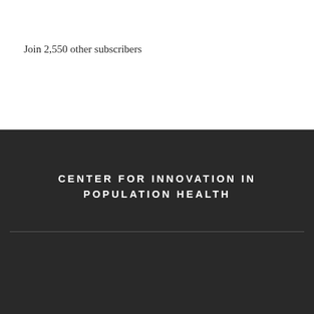Join 2,550 other subscribers
CENTER FOR INNOVATION IN POPULATION HEALTH